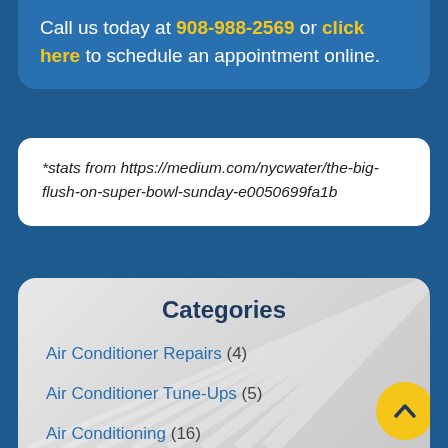Call us today at 908-988-2569 or click here to schedule an appointment online.
*stats from https://medium.com/nycwater/the-big-flush-on-super-bowl-sunday-e0050699fa1b
Categories
Air Conditioner Repairs (4)
Air Conditioner Tune-Ups (5)
Air Conditioning (16)
Blog (36)
Cooling (5)